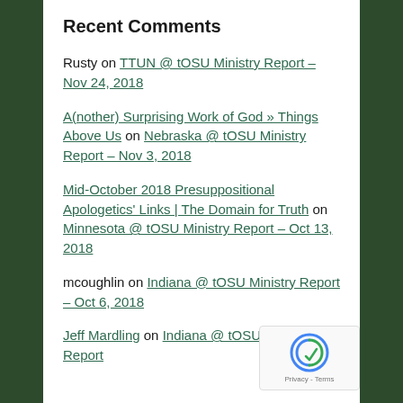Recent Comments
Rusty on TTUN @ tOSU Ministry Report – Nov 24, 2018
A(nother) Surprising Work of God » Things Above Us on Nebraska @ tOSU Ministry Report – Nov 3, 2018
Mid-October 2018 Presuppositional Apologetics' Links | The Domain for Truth on Minnesota @ tOSU Ministry Report – Oct 13, 2018
mcoughlin on Indiana @ tOSU Ministry Report – Oct 6, 2018
Jeff Mardling on Indiana @ tOSU Ministry Report